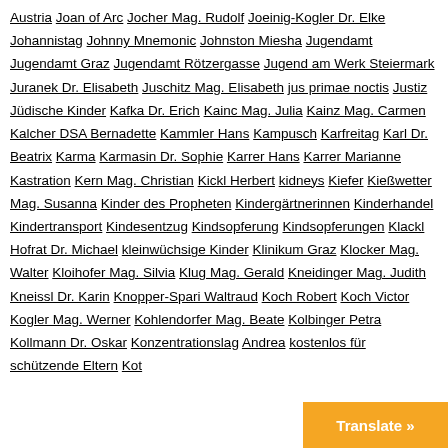Austria Joan of Arc Jocher Mag. Rudolf Joeinig-Kogler Dr. Elke Johannistag Johnny Mnemonic Johnston Miesha Jugendamt Jugendamt Graz Jugendamt Rötzergasse Jugend am Werk Steiermark Juranek Dr. Elisabeth Juschitz Mag. Elisabeth jus primae noctis Justiz Jüdische Kinder Kafka Dr. Erich Kainc Mag. Julia Kainz Mag. Carmen Kalcher DSA Bernadette Kammler Hans Kampusch Karfreitag Karl Dr. Beatrix Karma Karmasin Dr. Sophie Karrer Hans Karrer Marianne Kastration Kern Mag. Christian Kickl Herbert kidneys Kiefer Kießwetter Mag. Susanna Kinder des Propheten Kindergärtnerinnen Kinderhandel Kindertransport Kindesentzug Kindsopferung Kindsopferungen Klackl Hofrat Dr. Michael kleinwüchsige Kinder Klinikum Graz Klocker Mag. Walter Kloihofer Mag. Silvia Klug Mag. Gerald Kneidinger Mag. Judith Kneissl Dr. Karin Knopper-Spari Waltraud Koch Robert Koch Victor Kogler Mag. Werner Kohlendorfer Mag. Beate Kolbinger Petra Kollmann Dr. Oskar Konzentrationslag... Andrea kostenlos für schützende Eltern Kot...
[Figure (other): Orange 'Translate »' button overlay in bottom-right corner]